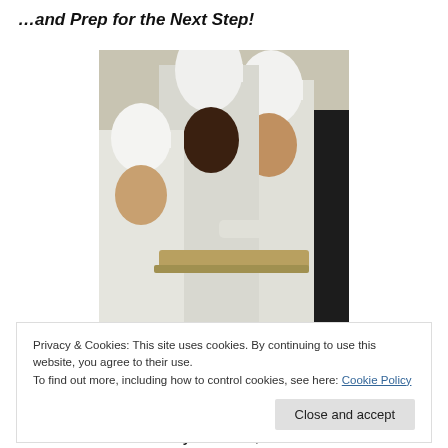…and Prep for the Next Step!
[Figure (photo): Three people in white chef uniforms and tall white chef hats working in a kitchen, serving food from trays. A figure in dark clothing is visible on the right.]
Privacy & Cookies: This site uses cookies. By continuing to use this website, you agree to their use.
To find out more, including how to control cookies, see here: Cookie Policy
and Instructional Tech Maryann Miutz, worked smart and